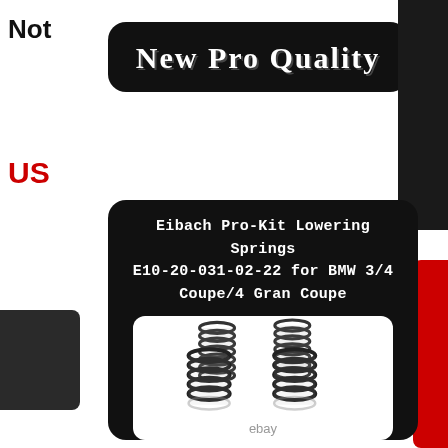Not
[Figure (logo): Black rounded rectangle banner with 'New Pro Quality' text in white decorative font]
rsid
US
Eibach Pro-Kit Lowering Springs E10-20-031-02-22 for BMW 3/4 Coupe/4 Gran Coupe
[Figure (photo): Set of four Eibach coil lowering springs on white background, with eBay watermark below]